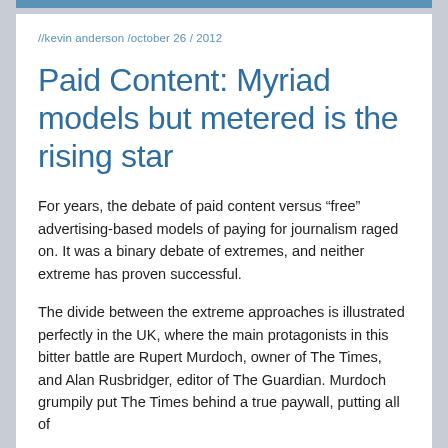//kevin anderson /october 26 / 2012
Paid Content: Myriad models but metered is the rising star
For years, the debate of paid content versus “free” advertising-based models of paying for journalism raged on. It was a binary debate of extremes, and neither extreme has proven successful.
The divide between the extreme approaches is illustrated perfectly in the UK, where the main protagonists in this bitter battle are Rupert Murdoch, owner of The Times, and Alan Rusbridger, editor of The Guardian. Murdoch grumpily put The Times behind a true paywall, putting all of